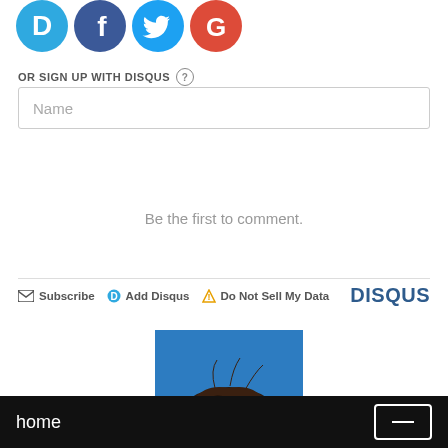[Figure (logo): Row of four social login icons: Disqus (blue D), Facebook (dark blue f), Twitter (light blue bird), Google (red G)]
OR SIGN UP WITH DISQUS ?
Name
Be the first to comment.
[Figure (infographic): Disqus footer bar with Subscribe, Add Disqus, Do Not Sell My Data links and DISQUS brand logo]
[Figure (photo): Partial photo of a person with dark hair against a blue background]
home